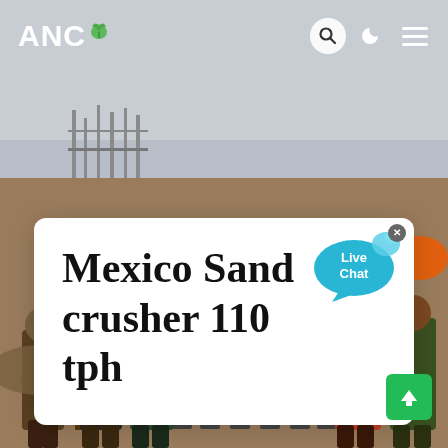[Figure (photo): Outdoor construction/industrial site photo showing workers standing around a sand crusher machine on a dirt surface, with scaffolding and hazy sky in background.]
ANC [logo with leaf icon] — navigation icons: search, dark mode, menu
Mexico Sand crusher 110 tph
[Figure (other): Live Chat speech bubble widget with close button in top right]